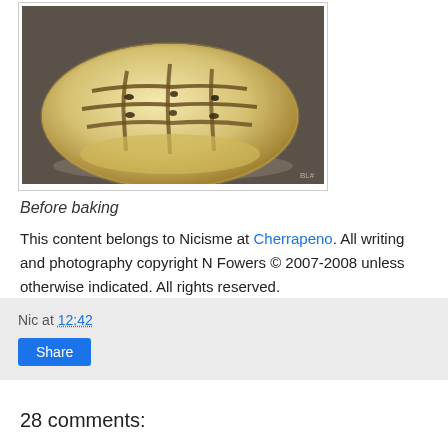[Figure (photo): Photo of a round flatbread (focaccia-style) scored on top with deep indentations, sitting on a dark surface dusted with flour, photographed before baking]
Before baking
This content belongs to Nicisme at Cherrapeno. All writing and photography copyright N Fowers © 2007-2008 unless otherwise indicated. All rights reserved.
cherrapeno.blogspot.com
Nic at 12:42
Share
28 comments: